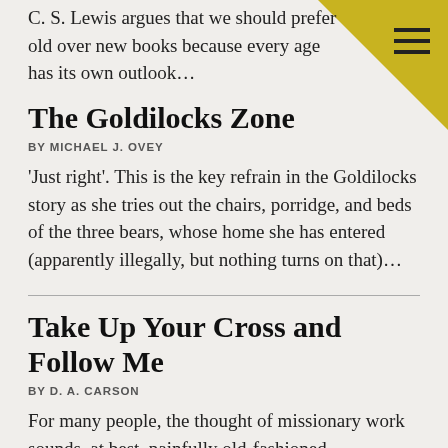C. S. Lewis argues that we should prefer old over new books because every age has its own outlook...
The Goldilocks Zone
BY MICHAEL J. OVEY
‘Just right’. This is the key refrain in the Goldilocks story as she tries out the chairs, porridge, and beds of the three bears, whose home she has entered (apparently illegally, but nothing turns on that)...
Take Up Your Cross and Follow Me
BY D. A. CARSON
For many people, the thought of missionary work sounds, at best, painfully old-fashioned...